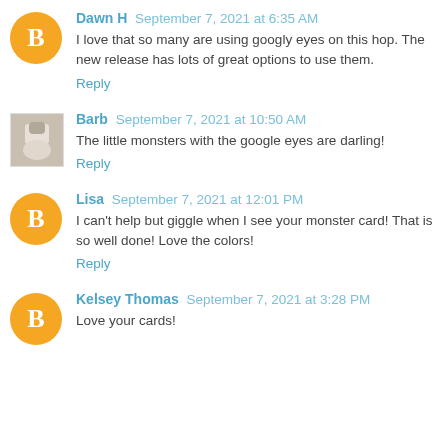Dawn H September 7, 2021 at 6:35 AM
I love that so many are using googly eyes on this hop. The new release has lots of great options to use them.
Reply
Barb September 7, 2021 at 10:50 AM
The little monsters with the google eyes are darling!
Reply
Lisa September 7, 2021 at 12:01 PM
I can't help but giggle when I see your monster card! That is so well done! Love the colors!
Reply
Kelsey Thomas September 7, 2021 at 3:28 PM
Love your cards!